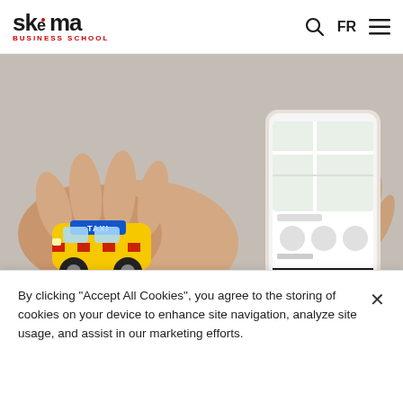SKEMA BUSINESS SCHOOL — FR
[Figure (photo): A hand holding a small yellow toy taxi car in one palm, and another hand holding a smartphone displaying the Uber app with 'CONFIRM UBERFLASH' button visible on screen. Light grey background.]
SHARE THIS POST
[Figure (other): Three circular social media share icons (partially visible at bottom of share section)]
By clicking "Accept All Cookies", you agree to the storing of cookies on your device to enhance site navigation, analyze site usage, and assist in our marketing efforts.